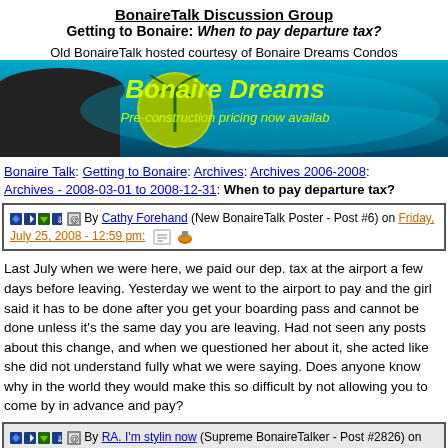BonaireTalk Discussion Group
Getting to Bonaire: When to pay departure tax?
Old BonaireTalk hosted courtesy of Bonaire Dreams Condos
[Figure (illustration): Bonaire Dreams banner image with teal water background, palm tree logo, and text 'Bonaire Dreams Pre-construction pricing now available']
Bonaire Talk : Getting to Bonaire : Archives : Archives 2006-2008 : Archives - 2008-03-01 to 2008-12-31 : When to pay departure tax?
By Cathy Forehand (New BonaireTalk Poster - Post #6) on Friday, July 25, 2008 - 12:59 pm:
Last July when we were here, we paid our dep. tax at the airport a few days before leaving. Yesterday we went to the airport to pay and the girl said it has to be done after you get your boarding pass and cannot be done unless it's the same day you are leaving. Had not seen any posts about this change, and when we questioned her about it, she acted like she did not understand fully what we were saying. Does anyone know why in the world they would make this so difficult by not allowing you to come by in advance and pay?
By RA. I'm stylin now (Supreme BonaireTalker - Post #2826) on Friday, July 25, 2008 - 1:03 pm:
Cathy, it seems to depend on who is working in the tax booth. Some people have been able to pay prior to having a boarding pass and others were not.